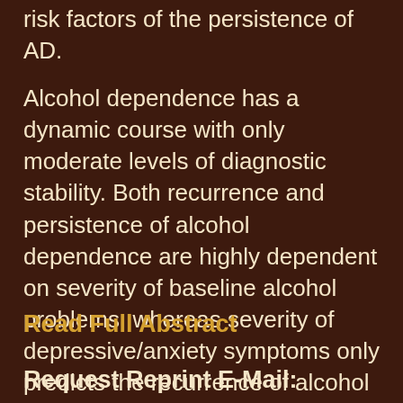risk factors of the persistence of AD.
Alcohol dependence has a dynamic course with only moderate levels of diagnostic stability. Both recurrence and persistence of alcohol dependence are highly dependent on severity of baseline alcohol problems, whereas severity of depressive/anxiety symptoms only predicts the recurrence of alcohol dependence. Both measures may be useful in identifying persons at an increased risk of a negative course and who could be targeted by prevention strategies.
Read Full Abstract
Request Reprint E-Mail: